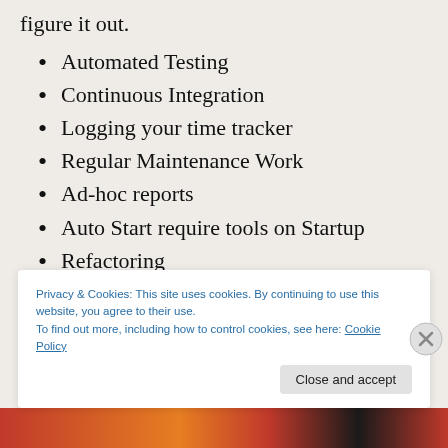figure it out.
Automated Testing
Continuous Integration
Logging your time tracker
Regular Maintenance Work
Ad-hoc reports
Auto Start require tools on Startup
Refactoring
Privacy & Cookies: This site uses cookies. By continuing to use this website, you agree to their use. To find out more, including how to control cookies, see here: Cookie Policy
Close and accept